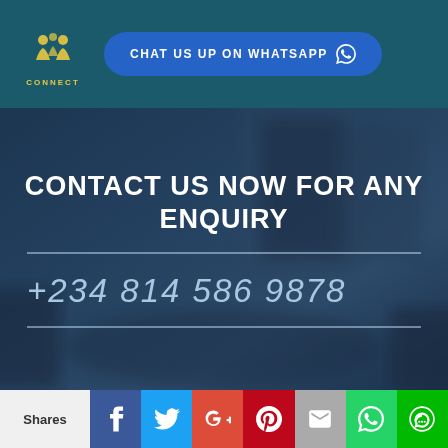[Figure (logo): UIL Connect logo with stylized people icon and yellow text CONNECT on teal background]
CHAT US UP ON WHATSAPP
[Figure (photo): Blurred office background with chairs around a table]
CONTACT US NOW FOR ANY ENQUIRY
+234 814 586 9878
Shares